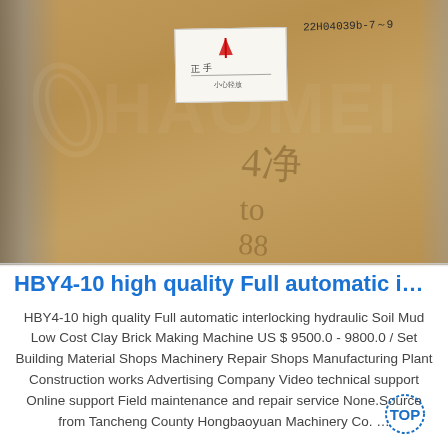[Figure (photo): Photograph of a large cardboard box with a white label sticker attached, handwritten Chinese characters and numbers on the surface, and a watermark logo reading 'HAOMEI' overlaid on the image.]
HBY4-10 high quality Full automatic interlo…
HBY4-10 high quality Full automatic interlocking hydraulic Soil Mud Low Cost Clay Brick Making Machine US $ 9500.0 - 9800.0 / Set Building Material Shops Machinery Repair Shops Manufacturing Plant Construction works Advertising Company Video technical support Online support Field maintenance and repair service None.Source from Tancheng County Hongbaoyuan Machinery Co. …